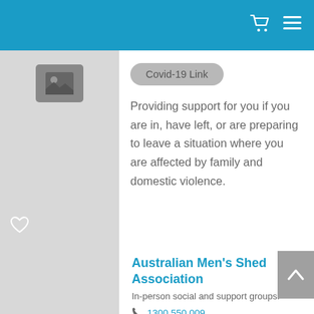[Figure (screenshot): Blue navigation bar with shopping cart icon and hamburger menu icon in top right]
[Figure (photo): Grey placeholder image thumbnail with mountain/image icon]
Covid-19 Link
Providing support for you if you are in, have left, or are preparing to leave a situation where you are affected by family and domestic violence.
Australian Men's Shed Association
In-person social and support groups.
1300 550 009
Website Link